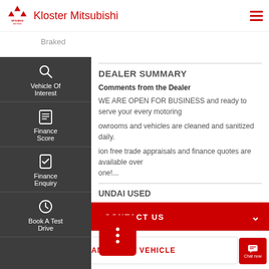Kloster Mitsubishi
Braked
DEALER SUMMARY
Comments from the Dealer
WE ARE OPEN FOR BUSINESS and ready to serve your every motoring
Showrooms and vehicles are cleaned and sanitized daily.
Obligation free trade appraisals and finance quotes are available over the phone!...
HYUNDAI USED
CONTACT US
FINANCE THIS VEHICLE
Chat now